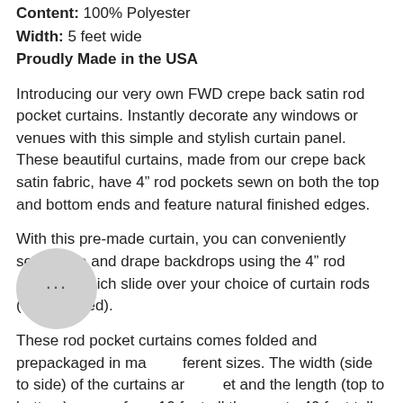Content: 100% Polyester
Width: 5 feet wide
Proudly Made in the USA
Introducing our very own FWD crepe back satin rod pocket curtains. Instantly decorate any windows or venues with this simple and stylish curtain panel. These beautiful curtains, made from our crepe back satin fabric, have 4" rod pockets sewn on both the top and bottom ends and feature natural finished edges.
With this pre-made curtain, you can conveniently setup pipe and drape backdrops using the 4" rod pockets, which slide over your choice of curtain rods (not included).
These rod pocket curtains comes folded and prepackaged in many different sizes. The width (side to side) of the curtains are 5 feet and the length (top to bottom) ranges from 10 feet all the way to 40 feet tall - this helps accommodate venue heights of all sizes. For best appearance when using as drapes